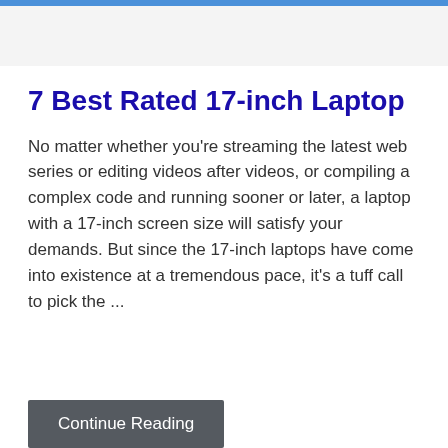7 Best Rated 17-inch Laptop
No matter whether you’re streaming the latest web series or editing videos after videos, or compiling a complex code and running sooner or later, a laptop with a 17-inch screen size will satisfy your demands. But since the 17-inch laptops have come into existence at a tremendous pace, it’s a tuff call to pick the …
Continue Reading